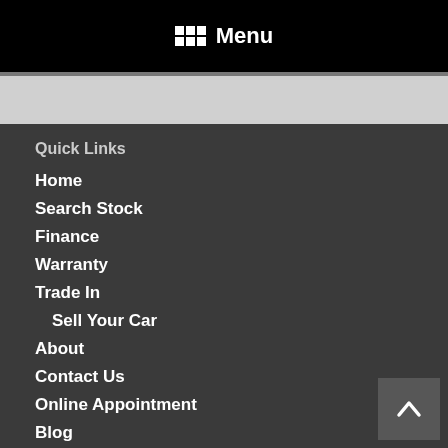Menu
Quick Links
Home
Search Stock
Finance
Warranty
Trade In
Sell Your Car
About
Contact Us
Online Appointment
Blog
Service Areas